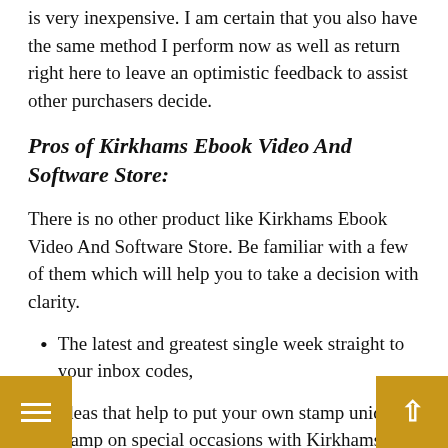is very inexpensive. I am certain that you also have the same method I perform now as well as return right here to leave an optimistic feedback to assist other purchasers decide.
Pros of Kirkhams Ebook Video And Software Store:
There is no other product like Kirkhams Ebook Video And Software Store. Be familiar with a few of them which will help you to take a decision with clarity.
The latest and greatest single week straight to your inbox codes,
Ideas that help to put your own stamp unique stamp on special occasions with Kirkhams Ebook Video And Software Store,
Free updates for life,